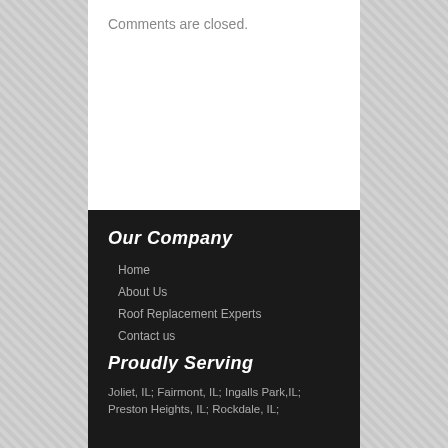Comments are closed.
Our Company
Home
About Us
Roof Replacement Experts
Contact us
Proudly Serving
Joliet, IL; Fairmont, IL; Ingalls Park,IL; Preston Heights, IL; Rockdale, IL;